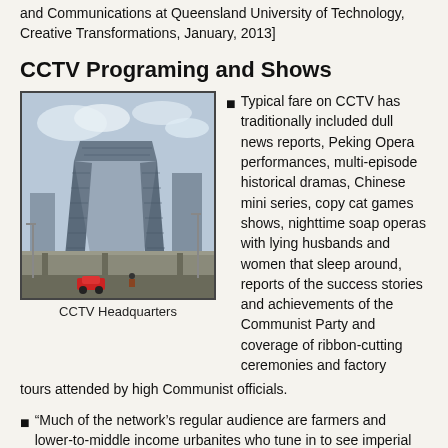and Communications at Queensland University of Technology, Creative Transformations, January, 2013]
CCTV Programing and Shows
[Figure (photo): Photo of CCTV Headquarters building in Beijing, a distinctive angular skyscraper with an arch shape, seen over an elevated highway with cars and street lights]
CCTV Headquarters
Typical fare on CCTV has traditionally included dull news reports, Peking Opera performances, multi-episode historical dramas, Chinese mini series, copy cat games shows, nighttime soap operas with lying husbands and women that sleep around, reports of the success stories and achievements of the Communist Party and coverage of ribbon-cutting ceremonies and factory tours attended by high Communist officials.
“Much of the network’s regular audience are farmers and lower-to-middle income urbanites who tune in to see imperial